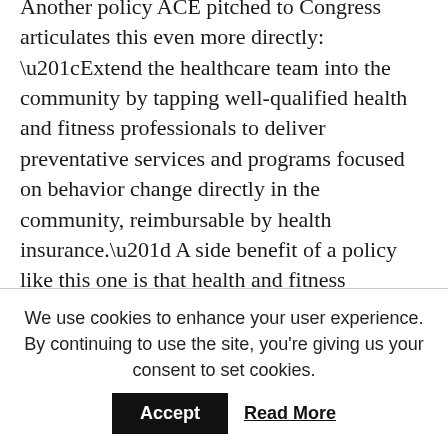Another policy ACE pitched to Congress articulates this even more directly: “Extend the healthcare team into the community by tapping well-qualified health and fitness professionals to deliver preventative services and programs focused on behavior change directly in the community, reimbursable by health insurance.” A side benefit of a policy like this one is that health and fitness professionals could be held in greater esteem by the population at large, their knowledge and their services valued for the truly life-transforming elements they are.
All in all, ACE’s letter to Congress is one to
We use cookies to enhance your user experience. By continuing to use the site, you're giving us your consent to set cookies.